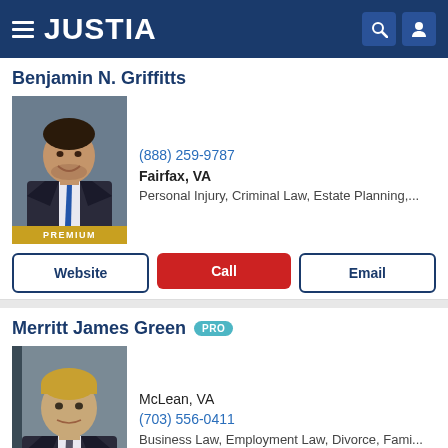JUSTIA
Benjamin N. Griffitts
[Figure (photo): Professional headshot of Benjamin N. Griffitts, male attorney in suit and tie, with PREMIUM badge below]
(888) 259-9787
Fairfax, VA
Personal Injury, Criminal Law, Estate Planning,...
Website
Call
Email
Merritt James Green PRO
[Figure (photo): Professional headshot of Merritt James Green, male attorney with blond hair in suit]
McLean, VA
(703) 556-0411
Business Law, Employment Law, Divorce, Fami...
Website
Call
Email